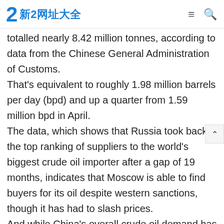新2网址大全
totalled nearly 8.42 million tonnes, according to data from the Chinese General Administration of Customs. That's equivalent to roughly 1.98 million barrels per day (bpd) and up a quarter from 1.59 million bpd in April. The data, which shows that Russia took back the top ranking of suppliers to the world's biggest crude oil importer after a gap of 19 months, indicates that Moscow is able to find buyers for its oil despite western sanctions, though it has had to slash prices. And while China's overall crude oil demand has been dampened by COVID-19 curbs and a slowing economy, leading importers, including refining giant Sinopec and trader Zhenhua Oil, have stepped up buying cheaper Russian oil on top of sanctioned supplies from Iran and